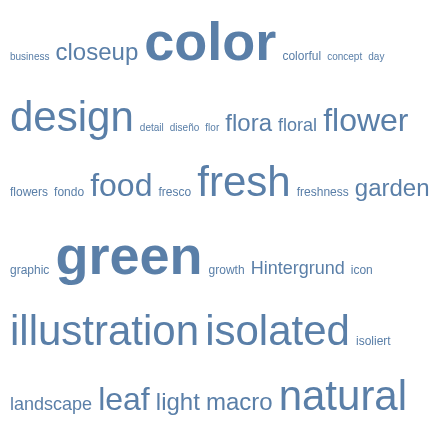[Figure (infographic): Tag cloud with words of varying sizes related to nature, photography, and design topics. Words include: business, closeup, color, colorful, concept, day, design, detail, diseño, flor, flora, floral, flower, flowers, fondo, food, fresco, fresh, freshness, garden, graphic, green, growth, Hintergrund, icon, illustration, isolated, isoliert, landscape, leaf, light, macro, natural, naturaleza, nature, nobody, object, orange, Outdoor, pattern, petal, plant, planta, primavera, red, season, sign, sky, spring, summer, symbol, texture, Thailand, travel, tree, tropical, vector, verano, verde, weiß, white, yellow]
RECENT POSTS
Electric lighting effect , abstract, background, blue, bolt, bright, charge, color, danger, design, disaster,
Industrial abstract colorful , abstract, background, banner, blank, business, cog, cogwheel, colorful, computer,
background, black, blank, border, business, communication, computer, copy, design, desktop, device, digital,
sukhothai historical park,